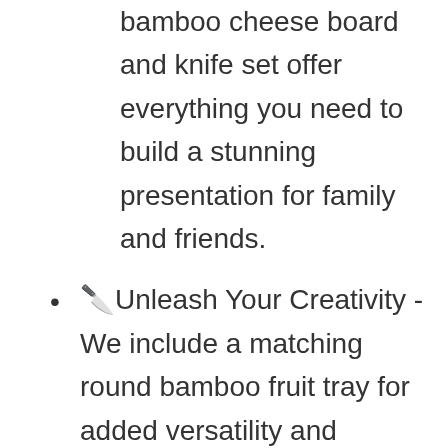bamboo cheese board and knife set offer everything you need to build a stunning presentation for family and friends.
🔪Unleash Your Creativity - We include a matching round bamboo fruit tray for added versatility and functionality. Enjoy our free guide booklet offering design suggestions. It will help you design a unique and gorgeous platter that will impress all your guests. Our charcuterie set comes in a sturdy decorative box for instant gifting. At SMIRLY, we make